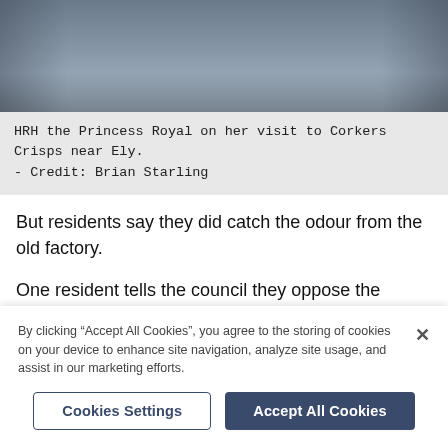[Figure (photo): Group of people standing together, partial photo showing figures from waist down, at what appears to be a building entrance]
HRH the Princess Royal on her visit to Corkers Crisps near Ely. - Credit: Brian Starling
But residents say they did catch the odour from the old factory.
One resident tells the council they oppose the application “because the pollution that emanated from the original factory could be resurrected.
By clicking “Accept All Cookies”, you agree to the storing of cookies on your device to enhance site navigation, analyze site usage, and assist in our marketing efforts.